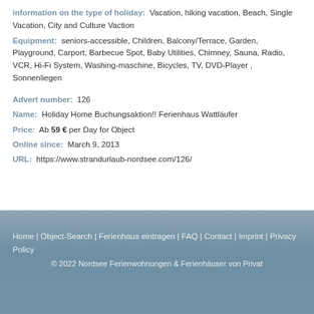information on the type of holiday:  Vacation, hiking vacation, Beach, Single Vacation, City and Culture Vaction
Equipment:  seniors-accessible, Children, Balcony/Terrace, Garden, Playground, Carport, Barbecue Spot, Baby Utilities, Chimney, Sauna, Radio, VCR, Hi-Fi System, Washing-maschine, Bicycles, TV, DVD-Player , Sonnenliegen
Advert number:  126
Name:  Holiday Home Buchungsaktion!! Ferienhaus Wattläufer
Price:  Ab 59 € per Day for Object
Online since:  March 9, 2013
URL:  https://www.strandurlaub-nordsee.com/126/
Home | Object-Search | Ferienhaus eintragen | FAQ | Contact | Imprint | Privacy Policy
© 2022 Nordsee Ferienwohnungen & Ferienhäuser von Privat